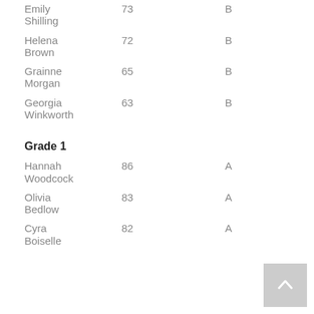| Name | Score | Grade |
| --- | --- | --- |
| Emily Shilling | 73 | B |
| Helena Brown | 72 | B |
| Grainne Morgan | 65 | B |
| Georgia Winkworth | 63 | B |
| Grade 1 |  |  |
| Hannah Woodcock | 86 | A |
| Olivia Bedlow | 83 | A |
| Cyra Boiselle | 82 | A |
| Ellen Char... | 8... | A |